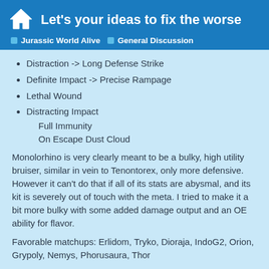Let's your ideas to fix the worse
Jurassic World Alive  General Discussion
Distraction -> Long Defense Strike
Definite Impact -> Precise Rampage
Lethal Wound
Distracting Impact
Full Immunity
On Escape Dust Cloud
Monolorhino is very clearly meant to be a bulky, high utility bruiser, similar in vein to Tenontorex, only more defensive. However it can't do that if all of its stats are abysmal, and its kit is severely out of touch with the meta. I tried to make it a bit more bulky with some added damage output and an OE ability for flavor.
Favorable matchups: Erlidom, Tryko, Dioraja, IndoG2, Orion, Grypoly, Nemys, Phorusaura, Thor
Unfavorable matchups: Maxima, Gemini, Mammolania, Magna, IndomG2, Moth, Tar
4 / 17